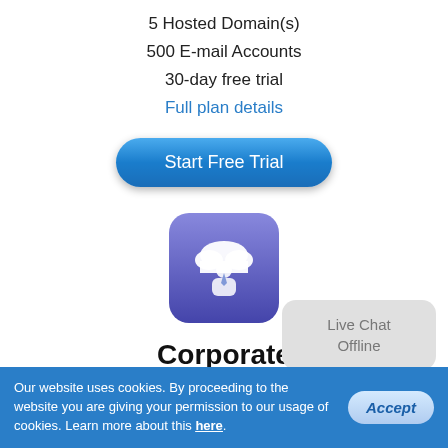5 Hosted Domain(s)
500 E-mail Accounts
30-day free trial
Full plan details
[Figure (illustration): Blue rounded rectangle button labeled 'Start Free Trial']
[Figure (logo): Purple/blue rounded square app icon with a cloud and person silhouette]
Corporate
Shared Hosting
$10.50
(per month)
Live Chat Offline
Our website uses cookies. By proceeding to the website you are giving your permission to our usage of cookies. Learn more about this here.